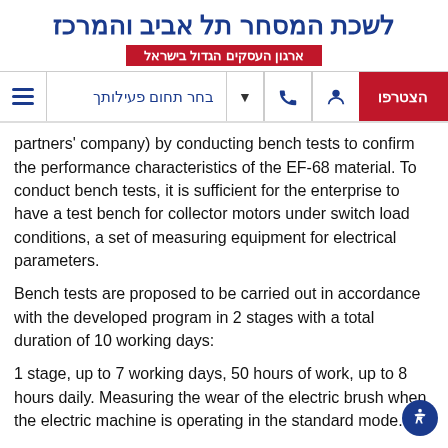לשכת המסחר תל אביב והמרכז
ארגון העסקים הגדול בישראל
בחר תחום פעילותך | הצטרפו
partners' company) by conducting bench tests to confirm the performance characteristics of the EF-68 material. To conduct bench tests, it is sufficient for the enterprise to have a test bench for collector motors under switch load conditions, a set of measuring equipment for electrical parameters.
Bench tests are proposed to be carried out in accordance with the developed program in 2 stages with a total duration of 10 working days:
1 stage, up to 7 working days, 50 hours of work, up to 8 hours daily. Measuring the wear of the electric brush when the electric machine is operating in the standard mode.
Stage 2, up to 3 working days, up to 8 hours daily. Measurements in three current load modes (60%, 100% and 140% of the rated current (standard)), at 50% and 100% of the collector speed (from